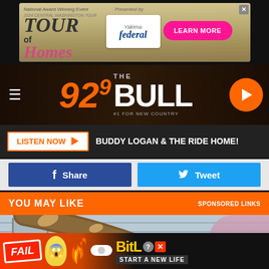[Figure (photo): Tour of Homes advertisement banner with Yakima Federal sponsorship and Learn More button]
[Figure (logo): 92.9 The Bull radio station logo with orange text on dark brown background and orange play button]
LISTEN NOW  BUDDY LOGAN & THE RIDE HOME!
Share  Tweet
YOU MAY LIKE  SPONSORED LINKS
[Figure (photo): Person with hard hat standing near a large felled tree trunk leaning against a house with gray siding and flowering bushes]
[Figure (photo): BitLife game advertisement with FAIL badge, cartoon character, fire, and Start A New Life text]